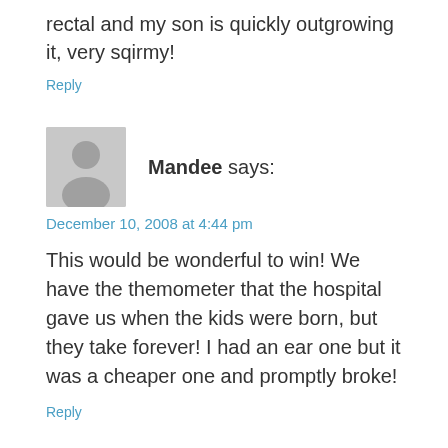rectal and my son is quickly outgrowing it, very sqirmy!
Reply
Mandee says:
December 10, 2008 at 4:44 pm
This would be wonderful to win! We have the themometer that the hospital gave us when the kids were born, but they take forever! I had an ear one but it was a cheaper one and promptly broke!
Reply
Keitha says: